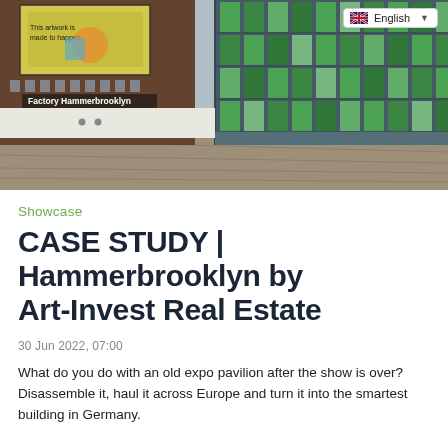[Figure (photo): Exterior photo of Factory Hammerbrooklyn building — a modern structure with green glass facade panels on the right and a brick building with a large billboard on the left. A wide pedestrian/brick walkway in the foreground. An English language selector badge appears top right.]
Showcase
CASE STUDY | Hammerbrooklyn by Art-Invest Real Estate
30 Jun 2022, 07:00
What do you do with an old expo pavilion after the show is over? Disassemble it, haul it across Europe and turn it into the smartest building in Germany.